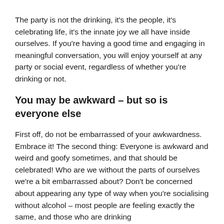The party is not the drinking, it's the people, it's celebrating life, it's the innate joy we all have inside ourselves. If you're having a good time and engaging in meaningful conversation, you will enjoy yourself at any party or social event, regardless of whether you're drinking or not.
You may be awkward – but so is everyone else
First off, do not be embarrassed of your awkwardness. Embrace it! The second thing: Everyone is awkward and weird and goofy sometimes, and that should be celebrated! Who are we without the parts of ourselves we're a bit embarrassed about? Don't be concerned about appearing any type of way when you're socialising without alcohol – most people are feeling exactly the same, and those who are drinking